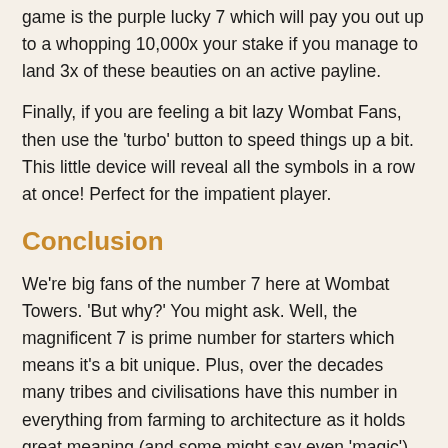game is the purple lucky 7 which will pay you out up to a whopping 10,000x your stake if you manage to land 3x of these beauties on an active payline.
Finally, if you are feeling a bit lazy Wombat Fans, then use the 'turbo' button to speed things up a bit. This little device will reveal all the symbols in a row at once! Perfect for the impatient player.
Conclusion
We're big fans of the number 7 here at Wombat Towers. 'But why?' You might ask. Well, the magnificent 7 is prime number for starters which means it's a bit unique. Plus, over the decades many tribes and civilisations have this number in everything from farming to architecture as it holds great meaning (and some might say even 'magic'). With that